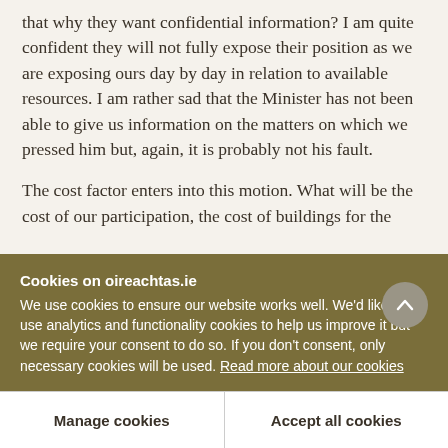that why they want confidential information? I am quite confident they will not fully expose their position as we are exposing ours day by day in relation to available resources. I am rather sad that the Minister has not been able to give us information on the matters on which we pressed him but, again, it is probably not his fault.
The cost factor enters into this motion. What will be the cost of our participation, the cost of buildings for the 36 hours and 8 hours the Minister will handle?
Cookies on oireachtas.ie
We use cookies to ensure our website works well. We'd like to use analytics and functionality cookies to help us improve it but we require your consent to do so. If you don't consent, only necessary cookies will be used. Read more about our cookies
Manage cookies
Accept all cookies